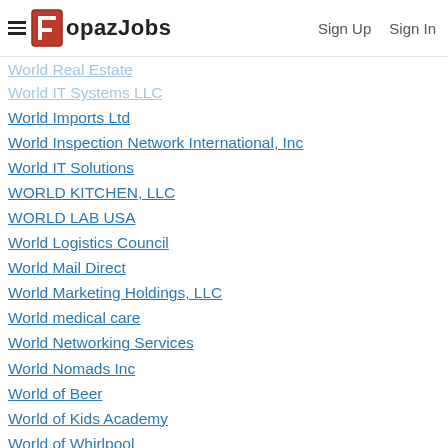TopazJobs | Sign Up | Sign In
World IT Systems LLC
World Imports Ltd
World Inspection Network International, Inc
World IT Solutions
WORLD KITCHEN, LLC
WORLD LAB USA
World Logistics Council
World Mail Direct
World Marketing Holdings, LLC
World medical care
World Networking Services
World Nomads Inc
World of Beer
World of Kids Academy
World of Whirlpool
World Omni Financial Corporation
World Patent Marketing
World Petroleum Supply, Inc
World Prime Communications
World Prime Communications, Inc
World Products